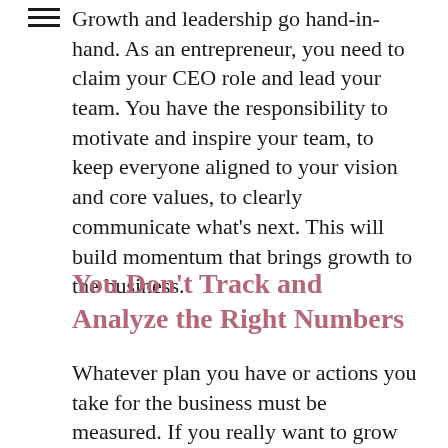Growth and leadership go hand-in-hand. As an entrepreneur, you need to claim your CEO role and lead your team. You have the responsibility to motivate and inspire your team, to keep everyone aligned to your vision and core values, to clearly communicate what's next. This will build momentum that brings growth to the business.
You Don't Track and Analyze the Right Numbers
Whatever plan you have or actions you take for the business must be measured. If you really want to grow your business, you need to know what's working and what's not and that means consistently tracking and